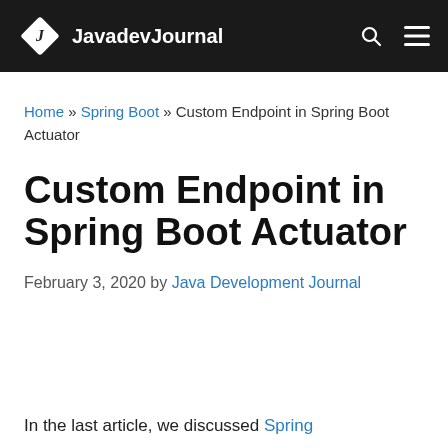JavadevJournal
Home » Spring Boot » Custom Endpoint in Spring Boot Actuator
Custom Endpoint in Spring Boot Actuator
February 3, 2020 by Java Development Journal
In the last article, we discussed Spring